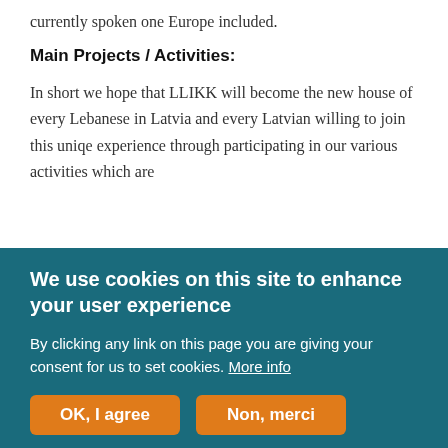currently spoken one Europe included.
Main Projects / Activities:
In short we hope that LLIKK will become the new house of every Lebanese in Latvia and every Latvian willing to join this uniqe experience through participating in our various activities which are
We use cookies on this site to enhance your user experience
By clicking any link on this page you are giving your consent for us to set cookies. More info
OK, I agree   Non, merci